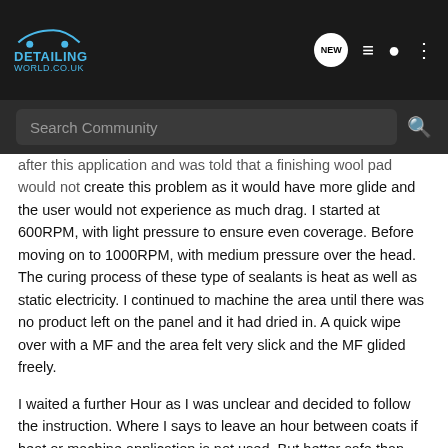DETAILING WORLD.CO.UK — header navigation bar
Search Community
after this application and was told that a finishing wool pad would not create this problem as it would have more glide and the user would not experience as much drag. I started at 600RPM, with light pressure to ensure even coverage. Before moving on to 1000RPM, with medium pressure over the head. The curing process of these type of sealants is heat as well as static electricity. I continued to machine the area until there was no product left on the panel and it had dried in. A quick wipe over with a MF and the area felt very slick and the MF glided freely.
I waited a further Hour as I was unclear and decided to follow the instruction. Where I says to leave an hour between coats if heat or machine application is not used. But better safe than sorry I applying a further coat of Aquartz to both corrected and uncorrected areas, as before and wipe clean.
Corrected side after 2 coats of Aquartz